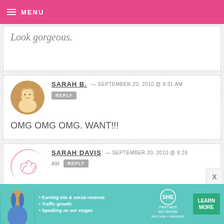MENU
Look gorgeous.
SARAH B. — SEPTEMBER 20, 2010 @ 9:31 AM
REPLY
OMG OMG OMG. WANT!!!
SARAH DAVIS — SEPTEMBER 20, 2010 @ 9:26 AM
REPLY
AHHH! How cute! They look rather tasty as well! :)
[Figure (infographic): SHE Partner Network advertisement banner with person photo, bullet points about earning site & social revenue, traffic growth, speaking on stages, SHE logo, and LEARN MORE button]